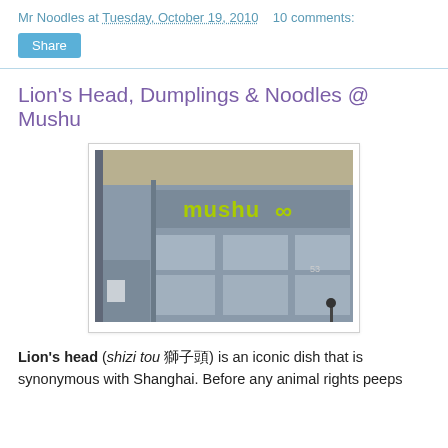Mr Noodles at Tuesday, October 19, 2010   10 comments:
Share
Lion's Head, Dumplings & Noodles @ Mushu
[Figure (photo): Exterior of Mushu restaurant with grey facade and yellow-green 'mushu' signage with infinity-like logo]
Lion's head (shizi tou 獅子頭) is an iconic dish that is synonymous with Shanghai. Before any animal rights peeps